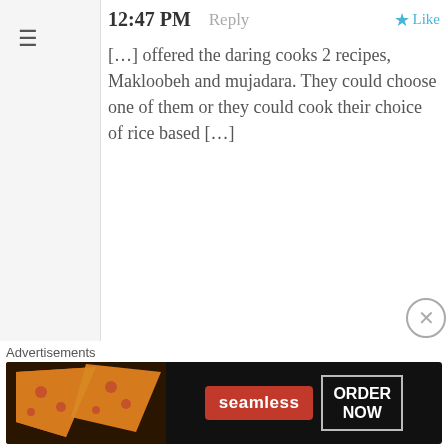≡
12:47 PM   Reply   ★ Like
[…] offered the daring cooks 2 recipes, Makloobeh and mujadara. They could choose one of them or they could cook their choice of rice based […]
71
[Figure (illustration): Green geometric avatar with diamond/square pattern]
Michelle Ghunmeyeen on March 21, 2016 at 10:29 PM   Reply   ★ Like
So excited to try this recipe tonight. I lived in Jordan as a child and always remembered my grandmother making this along with so many other delicious dishes! But of course nobody ever wrote down the recipes. Lol. I'm happy I found this!
[Figure (advertisement): Seamless food delivery advertisement showing pizza slices on the left, Seamless logo in red, and ORDER NOW button on dark background]